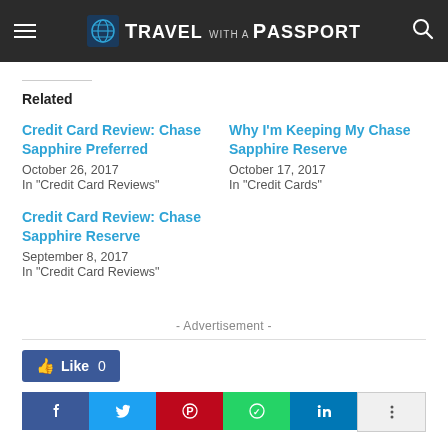Travel with a Passport
Related
Credit Card Review: Chase Sapphire Preferred
October 26, 2017
In "Credit Card Reviews"
Why I'm Keeping My Chase Sapphire Reserve
October 17, 2017
In "Credit Cards"
Credit Card Review: Chase Sapphire Reserve
September 8, 2017
In "Credit Card Reviews"
- Advertisement -
[Figure (other): Facebook Like button showing 0 likes, followed by social share buttons for Facebook, Twitter, Pinterest, WhatsApp, LinkedIn, and one more.]